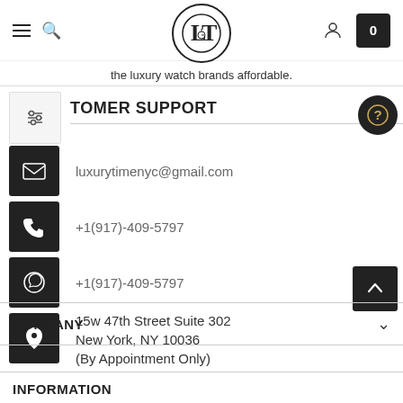[Figure (logo): Luxury Time NYC logo — LT monogram in a circle]
the luxury watch brands affordable.
CUSTOMER SUPPORT
luxurytimenyc@gmail.com
+1(917)-409-5797
+1(917)-409-5797
15w 47th Street Suite 302
New York, NY 10036
(By Appointment Only)
COMPANY
INFORMATION